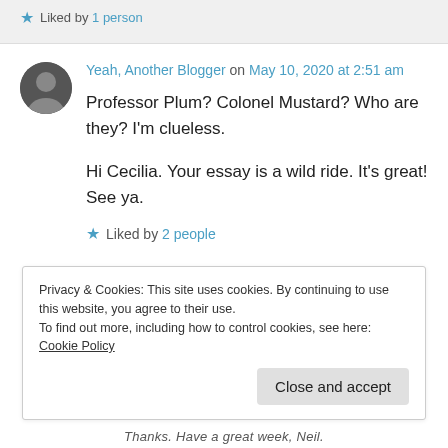★ Liked by 1 person
Yeah, Another Blogger on May 10, 2020 at 2:51 am
Professor Plum? Colonel Mustard? Who are they? I'm clueless.

Hi Cecilia. Your essay is a wild ride. It's great! See ya.
★ Liked by 2 people
Privacy & Cookies: This site uses cookies. By continuing to use this website, you agree to their use.
To find out more, including how to control cookies, see here: Cookie Policy
Close and accept
Thanks. Have a great week, Neil.